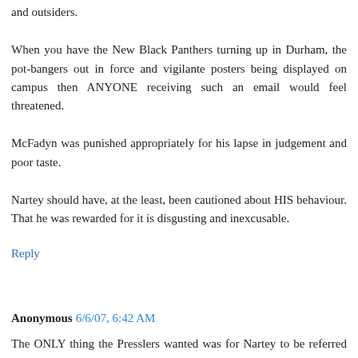and outsiders.
When you have the New Black Panthers turning up in Durham, the pot-bangers out in force and vigilante posters being displayed on campus then ANYONE receiving such an email would feel threatened.
McFadyn was punished appropriately for his lapse in judgement and poor taste.
Nartey should have, at the least, been cautioned about HIS behaviour. That he was rewarded for it is disgusting and inexcusable.
Reply
Anonymous 6/6/07, 6:42 AM
The ONLY thing the Presslers wanted was for Nartey to be referred to the Duke Judicial Board for review-period. At an executive level (the Allen Building), the decision was made not to do so, in clear violation of Duke's rules regarding conduct complaints. In all likelihood, that decision was